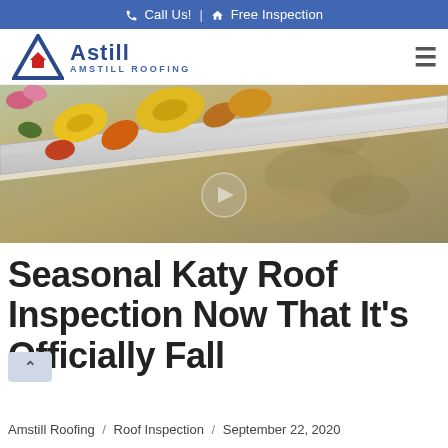📞 Call Us! | 🏠 Free Inspection
[Figure (logo): Amstill Roofing logo with stylized A and house icon, blue text]
[Figure (photo): Close-up photo of a roof gutter filled with autumn leaves (yellow, orange, red) with blurred fall foliage background]
Seasonal Katy Roof Inspection Now That It's Officially Fall
Amstill Roofing / Roof Inspection / September 22, 2020